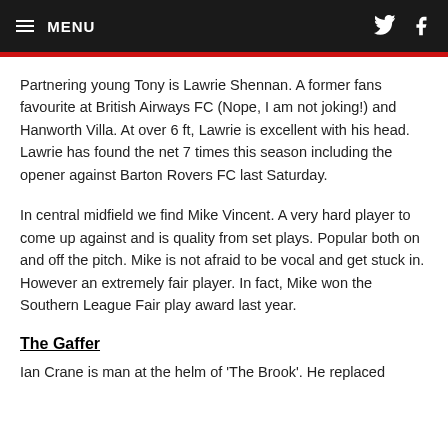MENU
Partnering young Tony is Lawrie Shennan. A former fans favourite at British Airways FC (Nope, I am not joking!) and Hanworth Villa. At over 6 ft, Lawrie is excellent with his head. Lawrie has found the net 7 times this season including the opener against Barton Rovers FC last Saturday.
In central midfield we find Mike Vincent. A very hard player to come up against and is quality from set plays. Popular both on and off the pitch. Mike is not afraid to be vocal and get stuck in. However an extremely fair player. In fact, Mike won the Southern League Fair play award last year.
The Gaffer
Ian Crane is man at the helm of 'The Brook'. He replaced